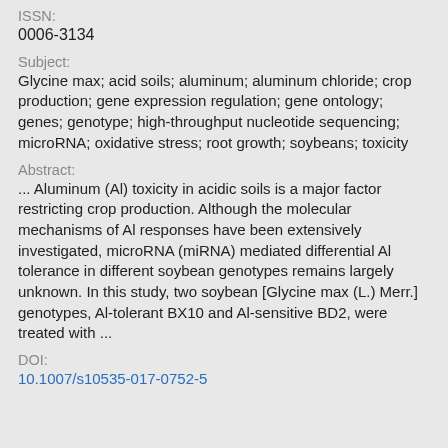ISSN:
0006-3134
Subject:
Glycine max; acid soils; aluminum; aluminum chloride; crop production; gene expression regulation; gene ontology; genes; genotype; high-throughput nucleotide sequencing; microRNA; oxidative stress; root growth; soybeans; toxicity
Abstract:
... Aluminum (Al) toxicity in acidic soils is a major factor restricting crop production. Although the molecular mechanisms of Al responses have been extensively investigated, microRNA (miRNA) mediated differential Al tolerance in different soybean genotypes remains largely unknown. In this study, two soybean [Glycine max (L.) Merr.] genotypes, Al-tolerant BX10 and Al-sensitive BD2, were treated with ...
DOI:
10.1007/s10535-017-0752-5